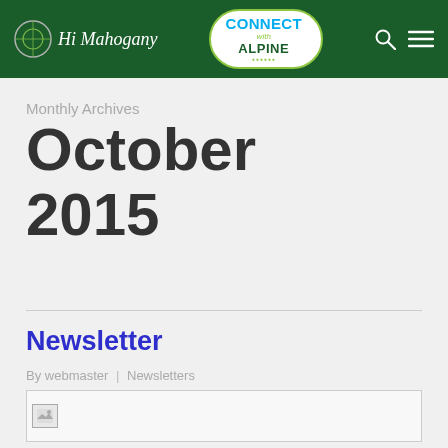Hi Mahogany | Connect with Alpine
Monthly Archives
October 2015
Newsletter
By webmaster | Newsletters
[Figure (photo): Newsletter image placeholder]